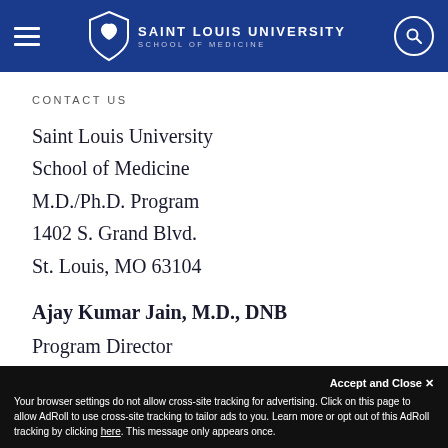Saint Louis University School of Medicine
CONTACT US
Saint Louis University
School of Medicine
M.D./Ph.D. Program
1402 S. Grand Blvd.
St. Louis, MO 63104
Ajay Kumar Jain, M.D., DNB
Program Director
ajay.jain@health.slu.edu
Your browser settings do not allow cross-site tracking for advertising. Click on this page to allow AdRoll to use cross-site tracking to tailor ads to you. Learn more or opt out of this AdRoll tracking by clicking here. This message only appears once.